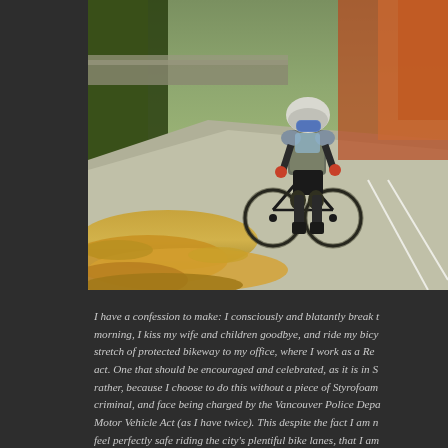[Figure (photo): A cyclist wearing full protective gear including a helmet with goggles, body armor, knee pads, and gloves rides a bicycle on a street covered in autumn leaves. The scene is set in an urban area with trees showing fall colors.]
I have a confession to make: I consciously and blatantly break the law. Every morning, I kiss my wife and children goodbye, and ride my bicycle down a short stretch of protected bikeway to my office, where I work as a Re... act. One that should be encouraged and celebrated, as it is in S... rather, because I choose to do this without a piece of Styrofoam... criminal, and face being charged by the Vancouver Police Depa... Motor Vehicle Act (as I have twice). This despite the fact I am n... feel perfectly safe riding the city's plentiful bike lanes, that I am...